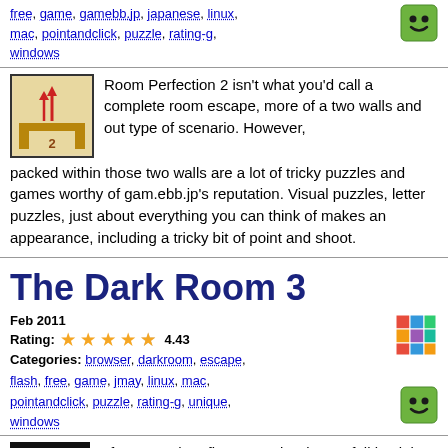free, game, gamebb.jp, japanese, linux, mac, pointandclick, puzzle, rating-g, windows
[Figure (illustration): Green smiley face icon button]
[Figure (illustration): Room Perfection 2 game thumbnail: brown room with red arrows and number 2]
Room Perfection 2 isn't what you'd call a complete room escape, more of a two walls and out type of scenario. However, packed within those two walls are a lot of tricky puzzles and games worthy of gam.ebb.jp's reputation. Visual puzzles, letter puzzles, just about everything you can think of makes an appearance, including a tricky bit of point and shoot.
The Dark Room 3
Feb 2011
Rating: 4.43
[Figure (illustration): Colorful Rubik's cube icon]
Categories: browser, darkroom, escape, flash, free, game, jmay, linux, mac, pointandclick, puzzle, rating-g, unique, windows
[Figure (illustration): Green smiley face icon button]
[Figure (illustration): Dark Room 3 game thumbnail: dark circular logo on black background]
After more than five years, it's time to fall back into Johnathan May's The Dark Room all over again with a new set of rooms to explore and puzzles to unlock. In fact...